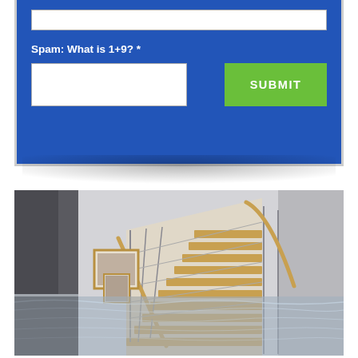[Figure (screenshot): Bottom portion of a web form with blue background showing spam question 'What is 1+9? *', a white text input box, and a green SUBMIT button]
[Figure (photo): Interior of a modern home with open-staircase featuring wooden steps and metal railings, flooded with water on the ground floor reflecting the staircase and surroundings]